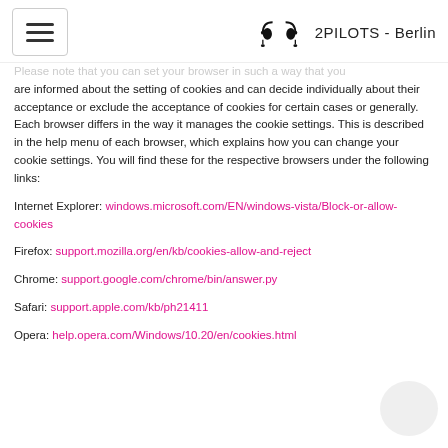2PILOTS - Berlin
Please note that you can set your browser in such a way that you are informed about the setting of cookies and can decide individually about their acceptance or exclude the acceptance of cookies for certain cases or generally. Each browser differs in the way it manages the cookie settings. This is described in the help menu of each browser, which explains how you can change your cookie settings. You will find these for the respective browsers under the following links:
Internet Explorer: windows.microsoft.com/EN/windows-vista/Block-or-allow-cookies
Firefox: support.mozilla.org/en/kb/cookies-allow-and-reject
Chrome: support.google.com/chrome/bin/answer.py
Safari: support.apple.com/kb/ph21411
Opera: help.opera.com/Windows/10.20/en/cookies.html